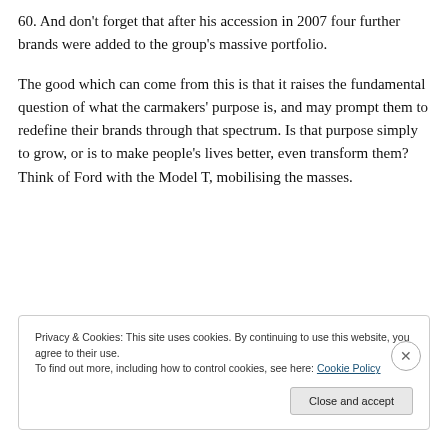60. And don't forget that after his accession in 2007 four further brands were added to the group's massive portfolio.
The good which can come from this is that it raises the fundamental question of what the carmakers' purpose is, and may prompt them to redefine their brands through that spectrum. Is that purpose simply to grow, or is to make people's lives better, even transform them? Think of Ford with the Model T, mobilising the masses.
Privacy & Cookies: This site uses cookies. By continuing to use this website, you agree to their use. To find out more, including how to control cookies, see here: Cookie Policy
Close and accept